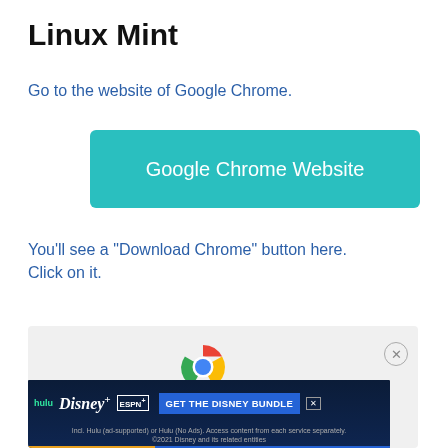Linux Mint
Go to the website of Google Chrome.
[Figure (screenshot): Teal/green button labeled 'Google Chrome Website']
You'll see a “Download Chrome” button here. Click on it.
[Figure (screenshot): Screenshot showing Chrome logo icon on a light grey background with a close button, and partially visible text below. An advertisement banner for 'GET THE DISNEY BUNDLE' with hulu, Disney+, and ESPN+ logos is overlaid at the bottom.]